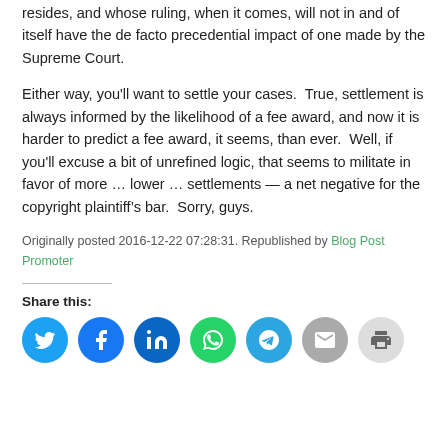resides, and whose ruling, when it comes, will not in and of itself have the de facto precedential impact of one made by the Supreme Court.
Either way, you'll want to settle your cases.  True, settlement is always informed by the likelihood of a fee award, and now it is harder to predict a fee award, it seems, than ever.  Well, if you'll excuse a bit of unrefined logic, that seems to militate in favor of more … lower … settlements — a net negative for the copyright plaintiff's bar.  Sorry, guys.
Originally posted 2016-12-22 07:28:31. Republished by Blog Post Promoter
Share this:
[Figure (infographic): Social sharing icons: Twitter (blue), Facebook (blue), LinkedIn (dark blue), WhatsApp (green), Telegram (light blue), Email (gray), Print (light gray)]